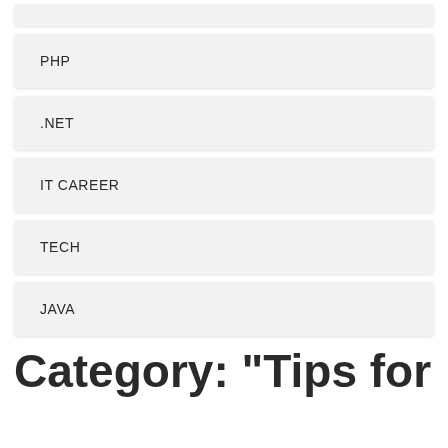PHP
.NET
IT CAREER
TECH
JAVA
Category: "Tips for